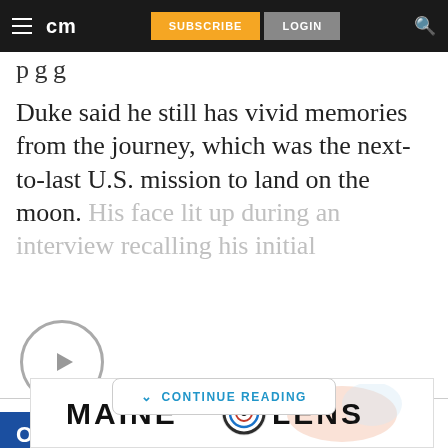cm | SUBSCRIBE | LOGIN
p g g
Duke said he still has vivid memories from the journey, which was the next-to-last U.S. mission to land on the moon. His face lit up during an interview recalling his initial
CONTINUE READING
[Figure (other): Video play button circle with grey border and grey triangle play icon]
OBITUARIES
[Figure (logo): Maine Lens advertisement banner with circular logo featuring blue and red swirl design]